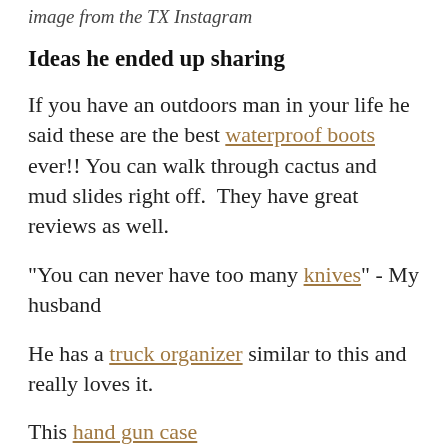image from the TX Instagram
Ideas he ended up sharing
If you have an outdoors man in your life he said these are the best waterproof boots ever!! You can walk through cactus and mud slides right off.  They have great reviews as well.
"You can never have too many knives" - My husband
He has a truck organizer similar to this and really loves it.
This hand gun case
Garmin GPS and heart rate watch